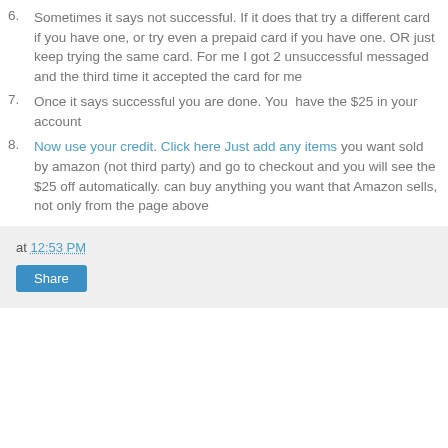6. Sometimes it says not successful. If it does that try a different card if you have one, or try even a prepaid card if you have one. OR just keep trying the same card. For me I got 2 unsuccessful messaged and the third time it accepted the card for me
7. Once it says successful you are done. You have the $25 in your account
8. Now use your credit. Click here Just add any items you want sold by amazon (not third party) and go to checkout and you will see the $25 off automatically. can buy anything you want that Amazon sells, not only from the page above
at 12:53 PM  Share